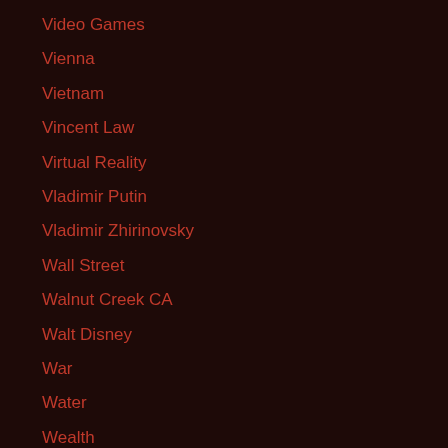Video Games
Vienna
Vietnam
Vincent Law
Virtual Reality
Vladimir Putin
Vladimir Zhirinovsky
Wall Street
Walnut Creek CA
Walt Disney
War
Water
Wealth
welfare state
Wax Crayon